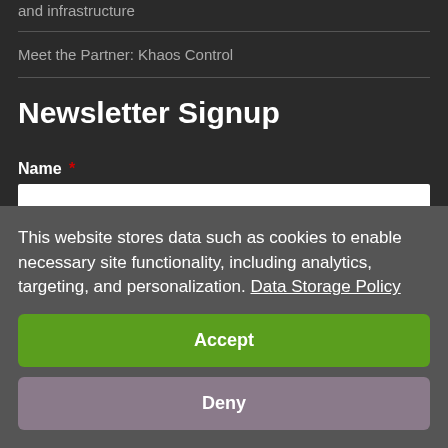and infrastructure
Meet the Partner: Khaos Control
Newsletter Signup
Name *
Email *
This website stores data such as cookies to enable necessary site functionality, including analytics, targeting, and personalization. Data Storage Policy
Accept
Deny